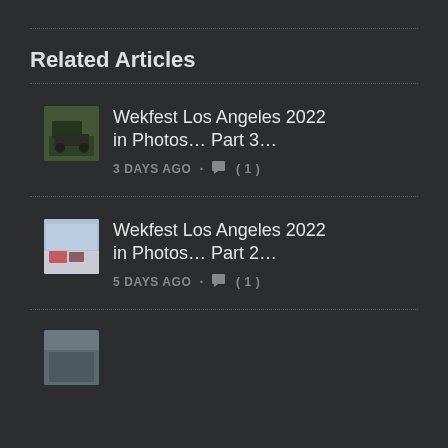Related Articles
Wekfest Los Angeles 2022 in Photos... Part 3... 3 DAYS AGO · (1)
Wekfest Los Angeles 2022 in Photos... Part 2... 5 DAYS AGO · (1)